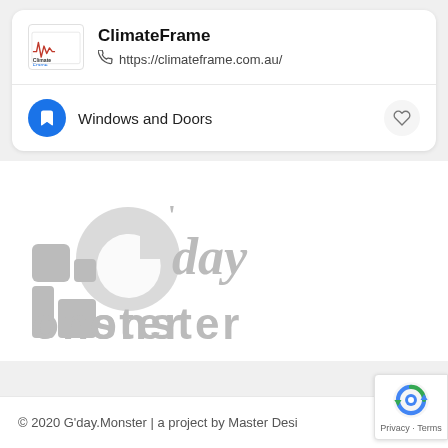ClimateFrame
https://climateframe.com.au/
Windows and Doors
[Figure (logo): G'day Monster watermark logo in grey]
© 2020 G'day.Monster | a project by Master Desi…